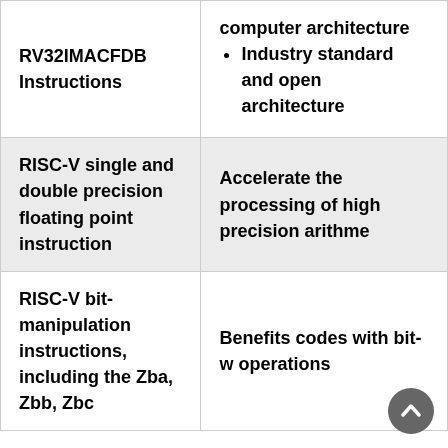| Feature | Benefit |
| --- | --- |
| RV32IMACFDB Instructions | computer architecture
• Industry standard and open architecture |
| RISC-V single and double precision floating point instruction | Accelerate the processing of high precision arithmetic |
| RISC-V bit-manipulation instructions, including the Zba, Zbb, Zbc | Benefits codes with bit-wise operations |